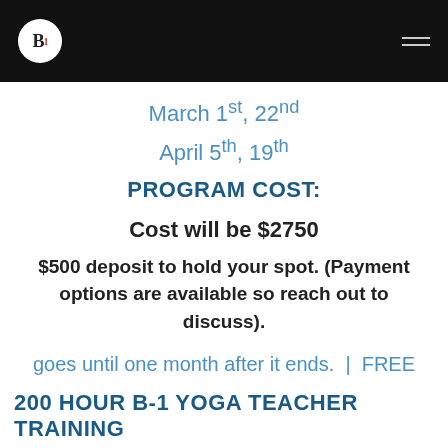B1 logo and navigation header
March 1st, 22nd
April 5th, 19th
PROGRAM COST:
Cost will be $2750
$500 deposit to hold your spot. (Payment options are available so reach out to discuss).
goes until one month after it ends.  |  FREE
200 HOUR B-1 YOGA TEACHER TRAINING